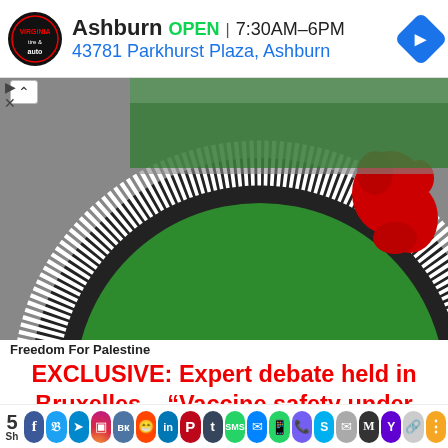[Figure (screenshot): Advertisement bar for Virginia Tire & Auto in Ashburn showing logo, OPEN status, hours 7:30AM-6PM, address 43781 Parkhurst Plaza Ashburn, and navigation icon]
[Figure (photo): Close-up photo of a circular emblem or artwork with text PALESTINE in black and white, with green and red/blood splatter design elements]
Freedom For Palestine
EXCLUSIVE: Expert debate held in Bruxelles – “Vaccine safety under question mark” – Photos & Video
[Figure (screenshot): Social media share bar showing share count 5 and share buttons for Facebook, Twitter, Telegram, Instagram, VK, Reddit, LinkedIn, Pinterest, Tumblr, SMS, Messenger, WhatsApp, Viber, Skype, Email, Gmail, Yahoo, Copy, More]